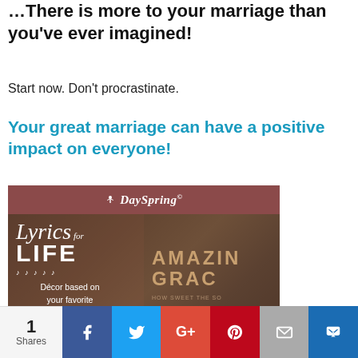There is more to your marriage than you've ever imagined!
Start now. Don't procrastinate.
Your great marriage can have a positive impact on everyone!
[Figure (illustration): DaySpring advertisement banner with brown header showing DaySpring logo, below which is an image for 'Lyrics for LIFE' product line with text 'Décor based on your favorite worship songs and hymns' on left side and a wooden plaque showing 'AMAZING GRACE' lyrics on the right side.]
1 Shares | Facebook | Twitter | Google+ | Pinterest | Email | Crown